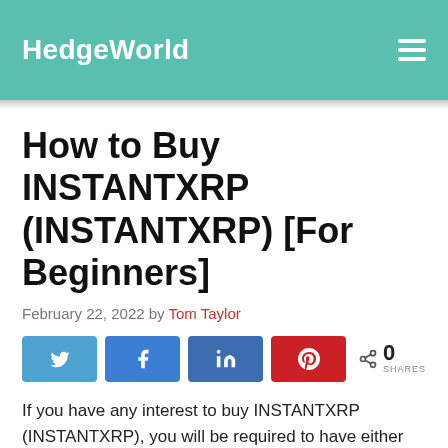HedgeWorld
How to Buy INSTANTXRP (INSTANTXRP) [For Beginners]
February 22, 2022 by Tom Taylor
[Figure (other): Social share buttons: Twitter, Facebook, LinkedIn, Pinterest, and a share count showing 0 SHARES]
If you have any interest to buy INSTANTXRP (INSTANTXRP), you will be required to have either Bitcoin abbreviated as (BTC) or